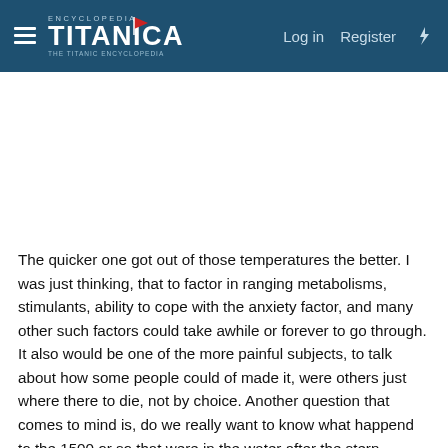Encyclopedia Titanica — Log in  Register
The quicker one got out of those temperatures the better. I was just thinking, that to factor in ranging metabolisms, stimulants, ability to cope with the anxiety factor, and many other such factors could take awhile or forever to go through. It also would be one of the more painful subjects, to talk about how some people could of made it, were others just where there to die, not by choice. Another question that comes to mind is, do we really want to know what happend to the 1500 or so that were in the water after the stern disappeared or do we want to just ponder aspects. Personally I'm up to any challenge on the subject, but